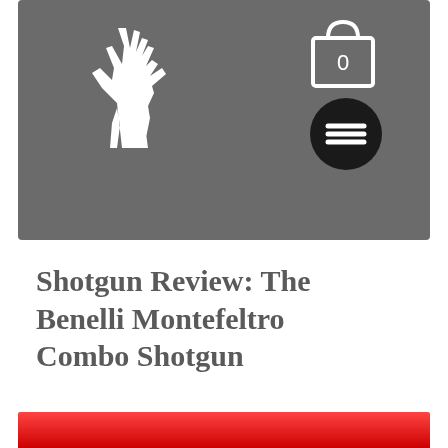[Figure (logo): Website header with gray background containing a white deer/elk silhouette logo on the left, a white shopping cart icon with '0' on the upper right, and a black circular hamburger menu button below the cart icon.]
Shotgun Review: The Benelli Montefeltro Combo Shotgun
[Figure (other): Red banner bar at the bottom of the page, partially visible, with a gradient red color.]